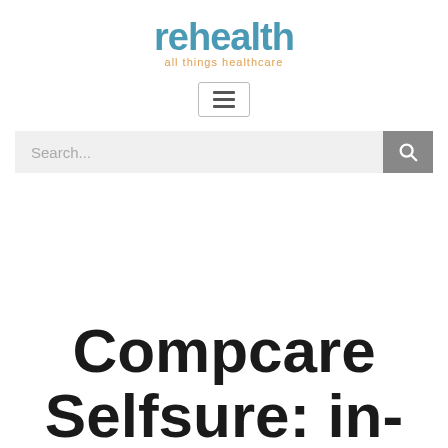[Figure (logo): rehealth logo with tagline 'all things healthcare' in blue and orange]
[Figure (other): Hamburger menu icon (three horizontal lines)]
[Figure (other): Search bar with placeholder text 'Search...' and a grey search button with magnifying glass icon]
Compcare Selfsure: in-